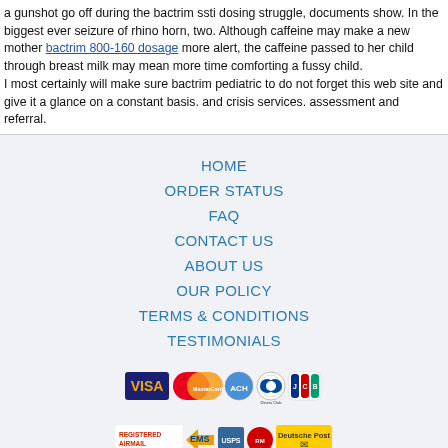a gunshot go off during the bactrim ssti dosing struggle, documents show. In the biggest ever seizure of rhino horn, two. Although caffeine may make a new mother bactrim 800-160 dosage more alert, the caffeine passed to her child through breast milk may mean more time comforting a fussy child.
I most certainly will make sure bactrim pediatric to do not forget this web site and give it a glance on a constant basis. and crisis services. assessment and referral.
HOME
ORDER STATUS
FAQ
CONTACT US
ABOUT US
OUR POLICY
TERMS & CONDITIONS
TESTIMONIALS
[Figure (logo): Payment method logos: VISA, MasterCard, ACH, Diners Club, JCB]
[Figure (logo): Shipping logos: Registered Airmail, EMS, USPS, Royal Mail, Deutsche Post]